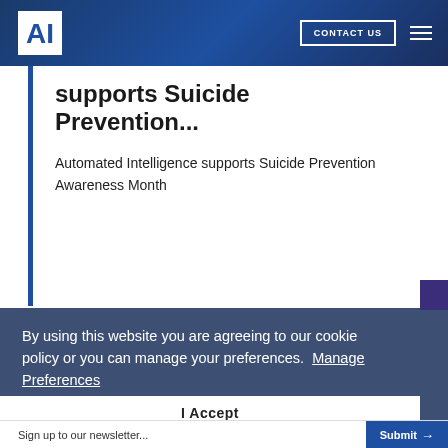CONTACT US
supports Suicide Prevention...
Automated Intelligence supports Suicide Prevention Awareness Month
By using this website you are agreeing to our cookie policy or you can manage your preferences.  Manage Preferences
I Accept
Sign up to our newsletter...  Submit